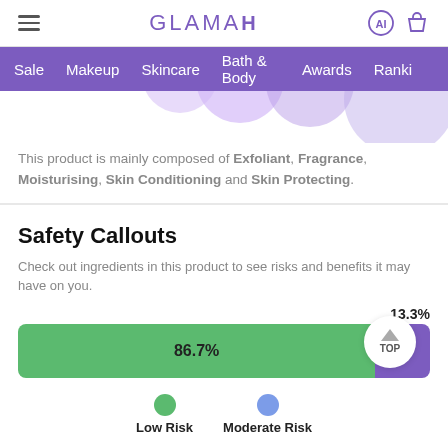GLAMAI
This product is mainly composed of Exfoliant, Fragrance, Moisturising, Skin Conditioning and Skin Protecting.
Safety Callouts
Check out ingredients in this product to see risks and benefits it may have on you.
[Figure (stacked-bar-chart): Safety Callouts Risk Bar]